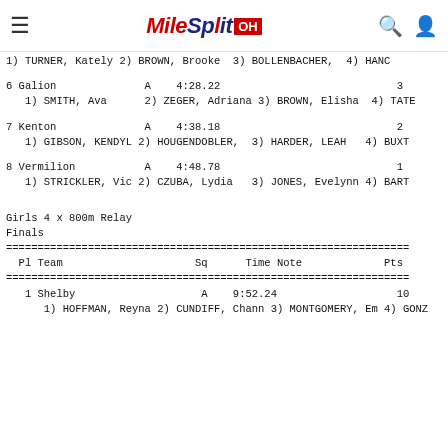MileSplit OH
1) TURNER, Kately 2) BROWN, Brooke  3) BOLLENBACHER,  4) HANC
6 Galion              A    4:28.22                            3
   1) SMITH, Ava      2) ZEGER, Adriana 3) BROWN, Elisha  4) TATE
7 Kenton              A    4:38.18                            2
   1) GIBSON, KENDYL 2) HOUGENDOBLER,  3) HARDER, LEAH   4) BUXT
8 Vermilion           A    4:48.78                            1
   1) STRICKLER, Vic 2) CZUBA, Lydia   3) JONES, Evelynn 4) BART
Girls 4 x 800m Relay
Finals
================================================================
  Pl Team                     Sq      Time Note             Pts
================================================================
1 Shelby                    A    9:52.24                   10
      1) HOFFMAN, Reyna 2) CUNDIFF, Chann 3) MONTGOMERY, Em 4) GONZ